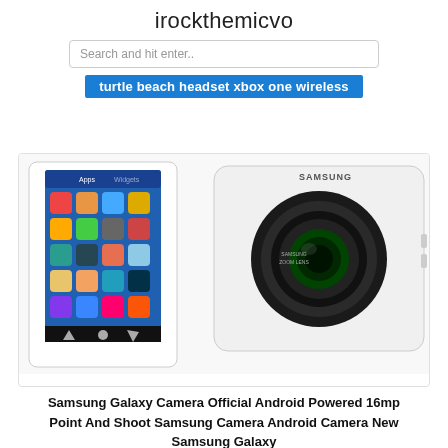irockthemicvo
Search and hit enter..
turtle beach headset xbox one wireless
[Figure (photo): Samsung Galaxy Camera showing Android-powered touchscreen phone on the left and a white Samsung compact camera with zoom lens on the right]
Samsung Galaxy Camera Official Android Powered 16mp Point And Shoot Samsung Camera Android Camera New Samsung Galaxy